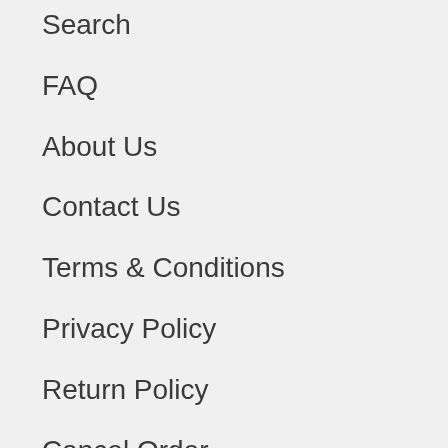Search
FAQ
About Us
Contact Us
Terms & Conditions
Privacy Policy
Return Policy
Cancel Order